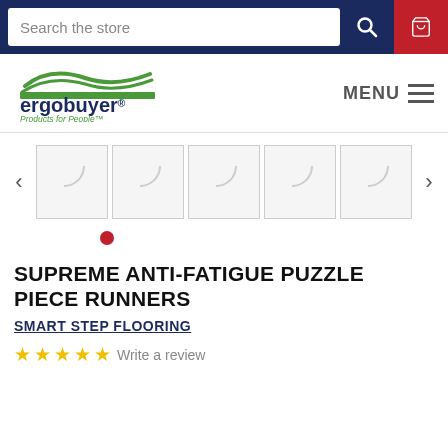Search the store
[Figure (logo): Ergobuyer logo with green wave and text 'ergobuyer. Products for People']
[Figure (screenshot): Image thumbnail gallery with 5 loading placeholder thumbnails and left/right navigation arrows, and a red carousel dot]
SUPREME ANTI-FATIGUE PUZZLE PIECE RUNNERS
SMART STEP FLOORING
Write a review